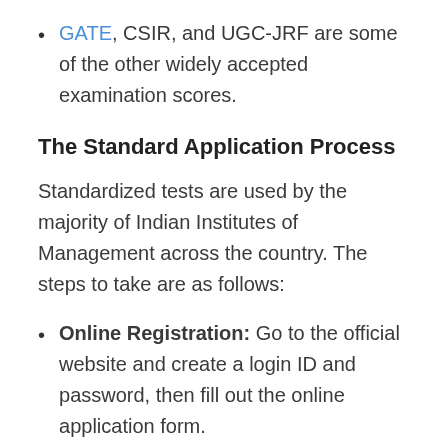GATE, CSIR, and UGC-JRF are some of the other widely accepted examination scores.
The Standard Application Process
Standardized tests are used by the majority of Indian Institutes of Management across the country. The steps to take are as follows:
Online Registration: Go to the official website and create a login ID and password, then fill out the online application form.
Filling Out the Form: Fill in your personal information, education, work experience